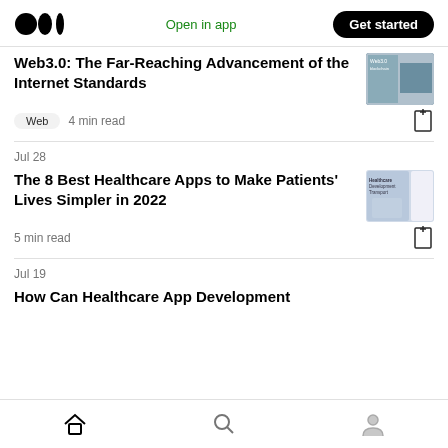Medium — Open in app | Get started
Web3.0: The Far-Reaching Advancement of the Internet Standards
Web  4 min read
Jul 28
The 8 Best Healthcare Apps to Make Patients' Lives Simpler in 2022
5 min read
Jul 19
How Can Healthcare App Development